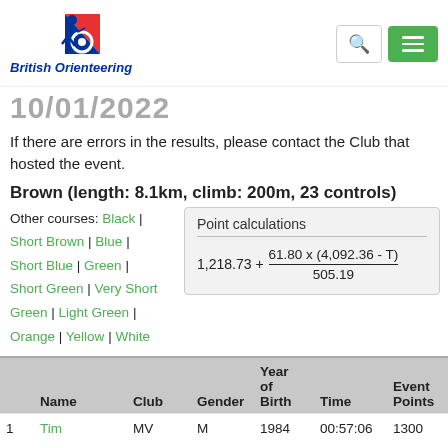[Figure (logo): British Orienteering logo with running figure and text 'British Orienteering']
10/01/2022
If there are errors in the results, please contact the Club that hosted the event.
Brown (length: 8.1km, climb: 200m, 23 controls)
Other courses: Black | Short Brown | Blue | Short Blue | Green | Short Green | Very Short Green | Light Green | Orange | Yellow | White
|  | Name | Club | Gender | Year of Birth | Time | Event Points |
| --- | --- | --- | --- | --- | --- | --- |
| 1 | Tim | MV | M | 1984 | 00:57:06 | 1300 |